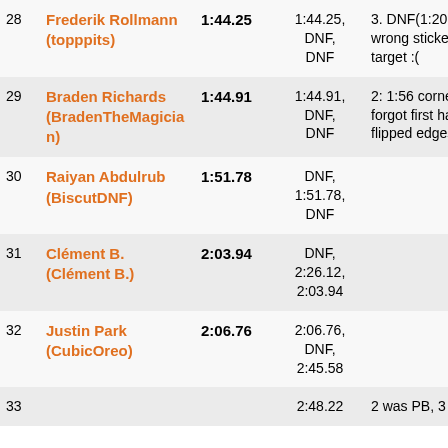| # | Name | Best | Times | Notes |
| --- | --- | --- | --- | --- |
| 28 | Frederik Rollmann (topppits) | 1:44.25 | 1:44.25, DNF, DNF | 3. DNF(1:20.44 2c, memoed wrong sticker on the last target :( |
| 29 | Braden Richards (BradenTheMagician) | 1:44.91 | 1:44.91, DNF, DNF | 2: 1:56 corners were wonky, forgot first half 3: 1:30 dnf 2 flipped edges :( |
| 30 | Raiyan Abdulrub (BiscutDNF) | 1:51.78 | DNF, 1:51.78, DNF |  |
| 31 | Clément B. (Clément B.) | 2:03.94 | DNF, 2:26.12, 2:03.94 |  |
| 32 | Justin Park (CubicOreo) | 2:06.76 | 2:06.76, DNF, 2:45.58 |  |
| 33 |  |  | 2:48.22 | 2 was PB, 3 |